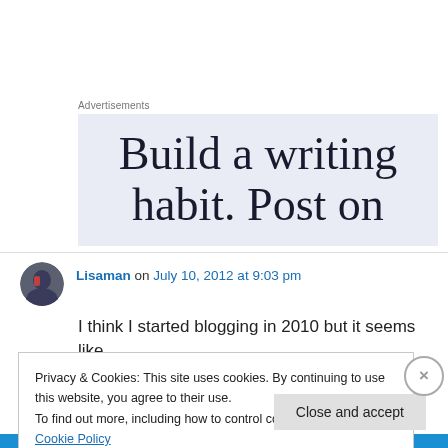Advertisements
[Figure (other): Advertisement banner showing text 'Build a writing habit. Post on' on a light blue-grey background]
Lisaman on July 10, 2012 at 9:03 pm
I think I started blogging in 2010 but it seems like
Privacy & Cookies: This site uses cookies. By continuing to use this website, you agree to their use. To find out more, including how to control cookies, see here: Cookie Policy
Close and accept